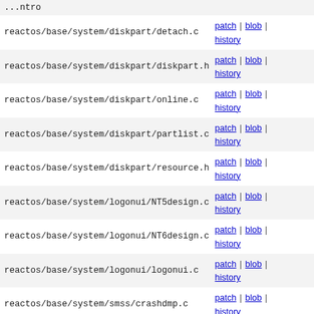| filepath | actions |
| --- | --- |
| reactos/base/system/diskpart/detach.c | patch | blob | history |
| reactos/base/system/diskpart/diskpart.h | patch | blob | history |
| reactos/base/system/diskpart/online.c | patch | blob | history |
| reactos/base/system/diskpart/partlist.c | patch | blob | history |
| reactos/base/system/diskpart/resource.h | patch | blob | history |
| reactos/base/system/logonui/NT5design.c | patch | blob | history |
| reactos/base/system/logonui/NT6design.c | patch | blob | history |
| reactos/base/system/logonui/logonui.c | patch | blob | history |
| reactos/base/system/smss/crashdmp.c | patch | blob | history |
| reactos/base/system/smss/pagefile.c | patch | blob | history |
| reactos/base/system/smss/sminit.c | patch | blob | history |
| reactos/base/system/smss/smloop.c | patch | blob | history |
| reactos/base/system/smss/smsbapi.c | patch | blob | history |
| reactos/base/system/smss/smsessn.c | patch | blob | history |
| reactos/base/system/smss/smsubsys.c | patch | blob | history |
| reactos/base/system/smss/smutil.c | patch | blob | history |
| reactos/base/system/userinit/userinit.c | patch | blob | history |